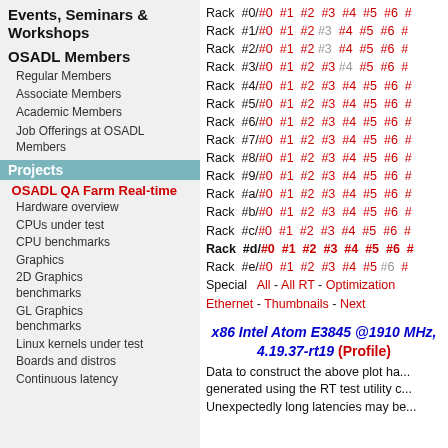Events, Seminars & Workshops
OSADL Members
Regular Members
Associate Members
Academic Members
Job Offerings at OSADL Members
Projects
OSADL QA Farm Real-time
Hardware overview
CPUs under test
CPU benchmarks
Graphics
2D Graphics benchmarks
GL Graphics benchmarks
Linux kernels under test
Boards and distros
Continuous latency
Rack #0/#0 #1 #2 #3 #4 #5 #6 #...
Rack #1/#0 #1 #2 #3 #4 #5 #6 #...
Rack #2/#0 #1 #2 #3 #4 #5 #6 #...
Rack #3/#0 #1 #2 #3 #4 #5 #6 #...
Rack #4/#0 #1 #2 #3 #4 #5 #6 #...
Rack #5/#0 #1 #2 #3 #4 #5 #6 #...
Rack #6/#0 #1 #2 #3 #4 #5 #6 #...
Rack #7/#0 #1 #2 #3 #4 #5 #6 #...
Rack #8/#0 #1 #2 #3 #4 #5 #6 #...
Rack #9/#0 #1 #2 #3 #4 #5 #6 #...
Rack #a/#0 #1 #2 #3 #4 #5 #6 #...
Rack #b/#0 #1 #2 #3 #4 #5 #6 #...
Rack #c/#0 #1 #2 #3 #4 #5 #6 #...
Rack #d/#0 #1 #2 #3 #4 #5 #6 #...
Rack #e/#0 #1 #2 #3 #4 #5 #6 #...
Special  All - All RT - Optimization Ethernet - Thumbnails - Next
x86 Intel Atom E3845 @1910 MHz, 4.19.37-rt19 (Profile)
Data to construct the above plot ha... generated using the RT test utility c... Unexpectedly long latencies may be...